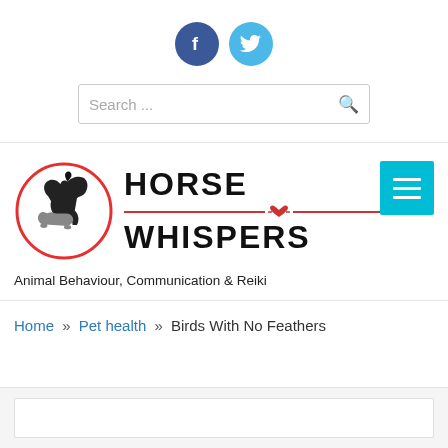[Figure (logo): Facebook and Twitter social media icons — circular buttons, Facebook dark blue with 'f', Twitter light blue with bird icon]
[Figure (other): Search bar with placeholder text 'Search ...' and magnifier icon]
[Figure (logo): Horse Whispers logo: circular emblem with horse and animals silhouette, text 'HORSE WHISPERS' in bold black with red heart divider line, and cyan hamburger menu button]
Animal Behaviour, Communication & Reiki
Home » Pet health » Birds With No Feathers